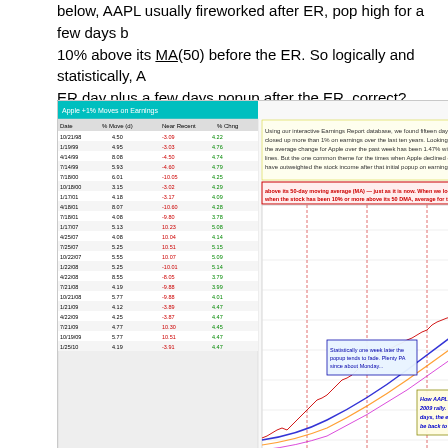below, AAPL usually fireworked after ER, pop high for a few days b 10% above its MA(50) before the ER. So logically and statistically, A ER day plus a few days popup after the ER, correct?
[Figure (screenshot): AAPL stock chart showing price movement around earnings reports, with a data table on the left side listing dates and percentage moves, and annotations about how AAPL traded after ER reports since March 2009 rally.]
Form the AAPL ER chart above we can see, the popup usually las market not merely for AAPL as mentioned above) will be the AAPL ER
Now let's from another angle to see if anything special for this 10/22
Below is my major chart for time analysis. There're 3 possible pivo considering the AAPL ER analysis above and 10/22 coincidently app could be the pivot date.
10/21 to 10/22, statistically 21 and 22 of each month since year